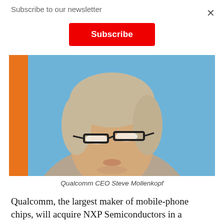Subscribe to our newsletter
Subscribe
[Figure (photo): Photo of Qualcomm CEO Steve Mollenkopf, a middle-aged man with grey-blond hair wearing glasses and a plaid blazer, photographed against a blue background with an orange element at left.]
Qualcomm CEO Steve Mollenkopf
Qualcomm, the largest maker of mobile-phone chips, will acquire NXP Semiconductors in a transaction valued